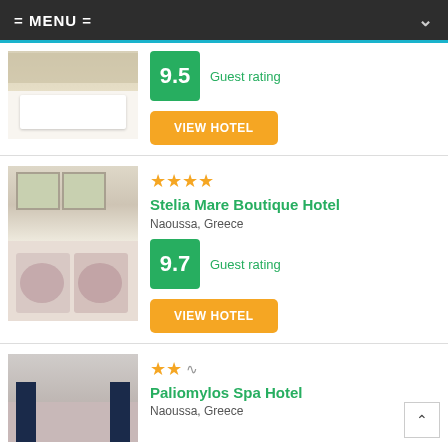= MENU =
[Figure (photo): Hotel bedroom with white pillows and bed]
Guest rating
9.5
VIEW HOTEL
[Figure (photo): Hotel room with floral pillows]
★★★★
Stelia Mare Boutique Hotel
Naoussa, Greece
Guest rating
9.7
VIEW HOTEL
[Figure (photo): Hotel room interior with curtains]
★★
Paliomylos Spa Hotel
Naoussa, Greece